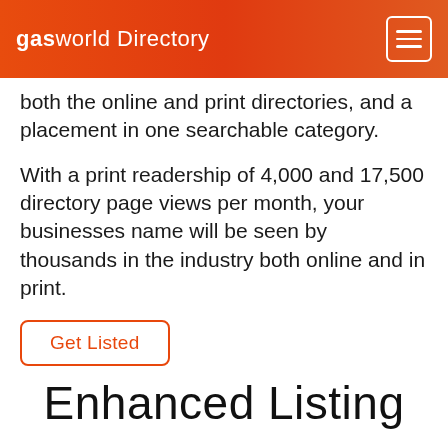gasworld Directory
both the online and print directories, and a placement in one searchable category.
With a print readership of 4,000 and 17,500 directory page views per month, your businesses name will be seen by thousands in the industry both online and in print.
Get Listed
Enhanced Listing